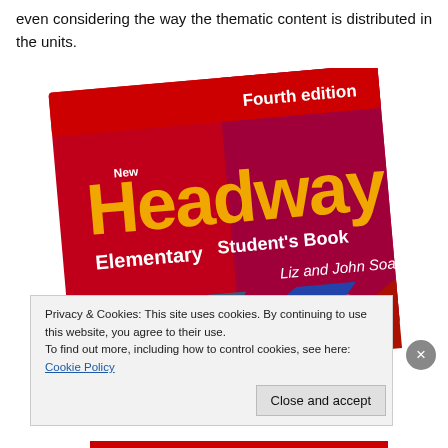even considering the way the thematic content is distributed in the units.
[Figure (photo): Book cover of New Headway Elementary Student's Book, Fourth edition, by Liz and John Soars. Red cover with yellow 'Headway' title text and triangular collage images of classroom, cycling, and a person using a tablet.]
Privacy & Cookies: This site uses cookies. By continuing to use this website, you agree to their use.
To find out more, including how to control cookies, see here: Cookie Policy
Close and accept